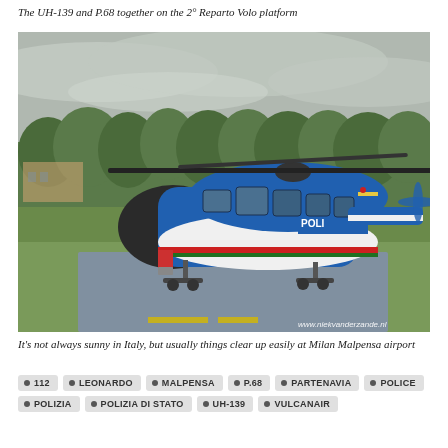The UH-139 and P.68 together on the 2° Reparto Volo platform
[Figure (photo): A blue and white police helicopter (AW139 / UH-139) with Italian Polizia markings parked on a wet helipad, green trees in background, overcast sky. Watermark: www.niekvanderzande.nl]
It's not always sunny in Italy, but usually things clear up easily at Milan Malpensa airport
112
LEONARDO
MALPENSA
P.68
PARTENAVIA
POLICE
POLIZIA
POLIZIA DI STATO
UH-139
VULCANAIR